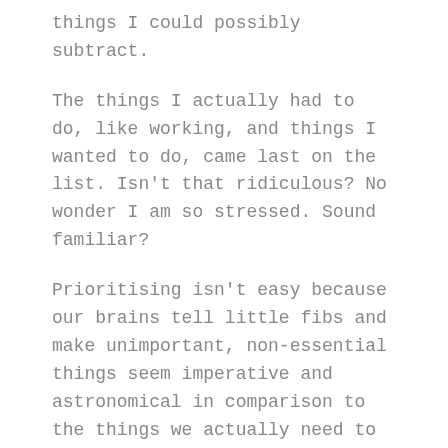things I could possibly subtract.
The things I actually had to do, like working, and things I wanted to do, came last on the list. Isn't that ridiculous? No wonder I am so stressed. Sound familiar?
Prioritising isn't easy because our brains tell little fibs and make unimportant, non-essential things seem imperative and astronomical in comparison to the things we actually need to do day to day.
I'm making a conscious effort to re-prioritise my life, to make room for the really important things that in the long run will make me happy. Try it for yourself – write everything down that you 'have to do' and assess just how important they all are. If you really